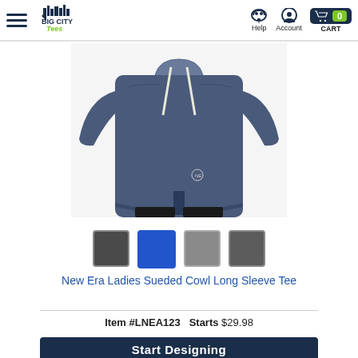Big City Tees — Help | Account | CART 0
[Figure (photo): Woman wearing a navy blue New Era Ladies Sueded Cowl Long Sleeve Tee with drawstrings]
[Figure (other): Four color swatches: dark charcoal, royal blue (selected), medium gray, dark gray]
New Era Ladies Sueded Cowl Long Sleeve Tee
Item #LNEA123   Starts $29.98
Start Designing